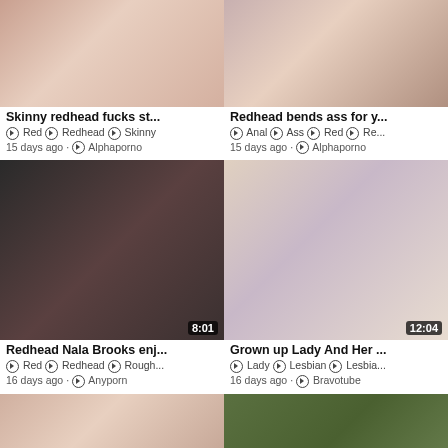[Figure (photo): Thumbnail: Skinny redhead video, no duration shown]
Skinny redhead fucks st...
⊙ Red ⊙ Redhead ⊙ Skinny
15 days ago ⊙ Alphaporno
[Figure (photo): Thumbnail: Redhead bends ass video, no duration shown]
Redhead bends ass for y...
⊙ Anal ⊙ Ass ⊙ Red ⊙ Re...
15 days ago ⊙ Alphaporno
[Figure (photo): Thumbnail: Redhead Nala Brooks video, duration 8:01]
Redhead Nala Brooks enj...
⊙ Red ⊙ Redhead ⊙ Rough...
16 days ago ⊙ Anyporn
[Figure (photo): Thumbnail: Grown up Lady And Her video, duration 12:04]
Grown up Lady And Her ...
⊙ Lady ⊙ Lesbian ⊙ Lesbia...
16 days ago ⊙ Bravotube
[Figure (photo): Thumbnail: bottom-left video, duration 10:12]
[Figure (photo): Thumbnail: bottom-right video, duration 5:00]